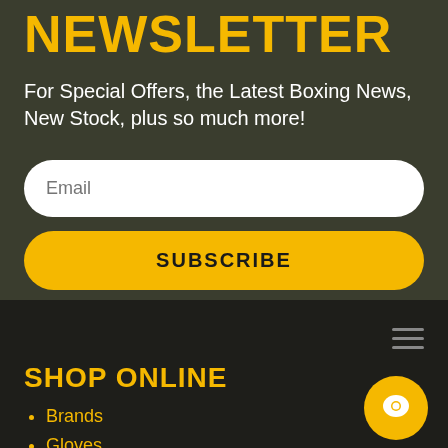NEWSLETTER
For Special Offers, the Latest Boxing News, New Stock, plus so much more!
SHOP ONLINE
Brands
Gloves